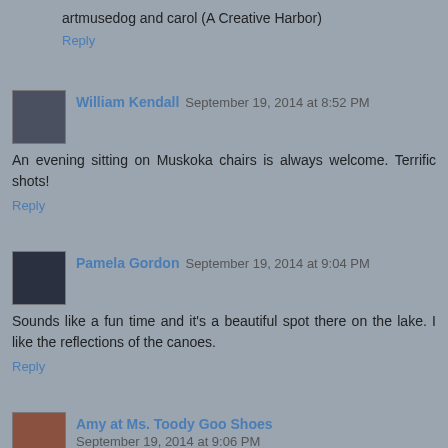artmusedog and carol (A Creative Harbor)
Reply
William Kendall  September 19, 2014 at 8:52 PM
An evening sitting on Muskoka chairs is always welcome. Terrific shots!
Reply
Pamela Gordon  September 19, 2014 at 9:04 PM
Sounds like a fun time and it's a beautiful spot there on the lake. I like the reflections of the canoes.
Reply
Amy at Ms. Toody Goo Shoes  September 19, 2014 at 9:06 PM
Sounds like a wonderful time anyway, and I do think you